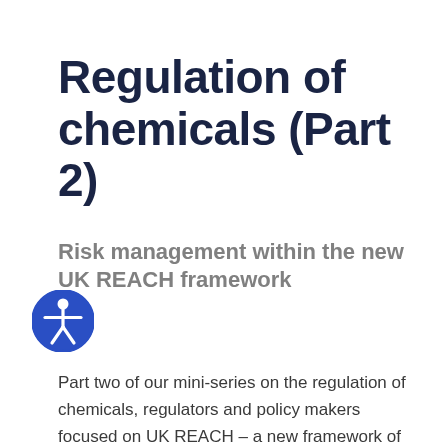Regulation of chemicals (Part 2)
Risk management within the new UK REACH framework
[Figure (illustration): Blue circle accessibility icon showing a stylized human figure with arms outstretched]
Part two of our mini-series on the regulation of chemicals, regulators and policy makers focused on UK REACH – a new framework of chemical regulation in the UK post-Brexit. We discovered how it will go about tackling the UK's first 'substances of concern' – lead ammunition and tattoo inks – and the highly complex challenge of